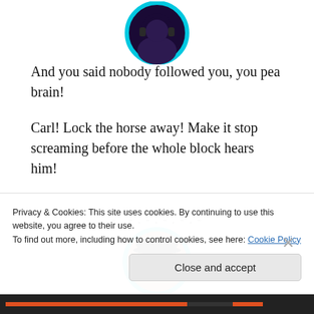[Figure (illustration): Circular avatar with cyan border showing a dark purple/blue background with partial figure visible at top of page]
And you said nobody followed you, you pea brain!
Carl! Lock the horse away! Make it stop screaming before the whole block hears him!
-.-.-.-.-.-
[Figure (illustration): Circular avatar with cyan border showing a 3D rendered man with black cap, dark sunglasses, and mustache]
Privacy & Cookies: This site uses cookies. By continuing to use this website, you agree to their use.
To find out more, including how to control cookies, see here: Cookie Policy